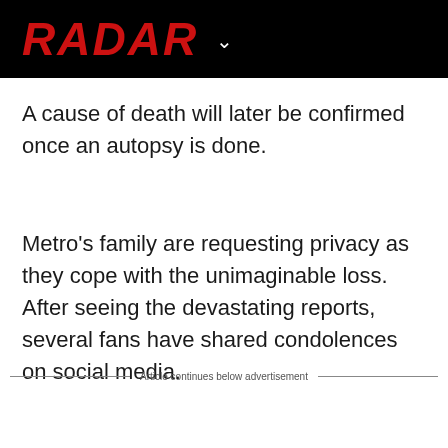RADAR
A cause of death will later be confirmed once an autopsy is done.
Metro's family are requesting privacy as they cope with the unimaginable loss. After seeing the devastating reports, several fans have shared condolences on social media.
Article continues below advertisement